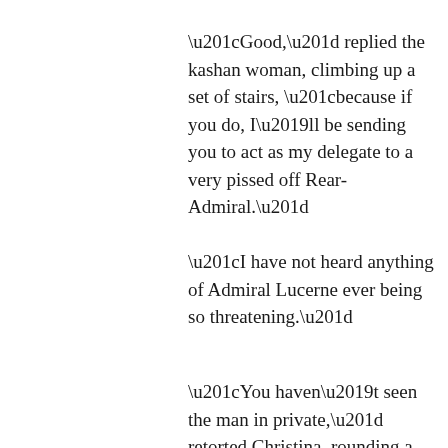“Good,” replied the kashan woman, climbing up a set of stairs, “because if you do, I’ll be sending you to act as my delegate to a very pissed off Rear-Admiral.”
“I have not heard anything of Admiral Lucerne ever being so threatening.”
“You haven’t seen the man in private,” retorted Christina, rounding a corner, “he is a different person. Honestly,”